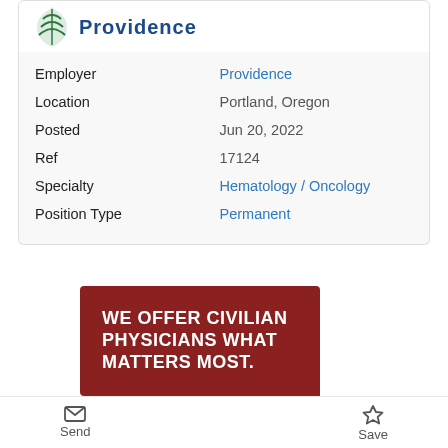[Figure (logo): Providence health system logo with green tree icon and blue text]
| Field | Value |
| --- | --- |
| Employer | Providence |
| Location | Portland, Oregon |
| Posted | Jun 20, 2022 |
| Ref | 17124 |
| Specialty | Hematology / Oncology |
| Position Type | Permanent |
[Figure (illustration): Dark red banner advertisement with bold white uppercase text reading WE OFFER CIVILIAN PHYSICIANS WHAT MATTERS MOST. with a notched bottom-right corner]
Send    Save